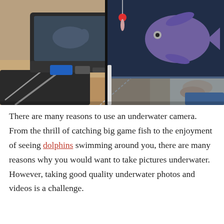[Figure (photo): Composite photo showing an underwater camera setup in a boat with a monitor displaying a fish, alongside an underwater photo of a bluegill/sunfish near a fishing lure, and hands holding a fishing rod over water.]
There are many reasons to use an underwater camera. From the thrill of catching big game fish to the enjoyment of seeing dolphins swimming around you, there are many reasons why you would want to take pictures underwater. However, taking good quality underwater photos and videos is a challenge.